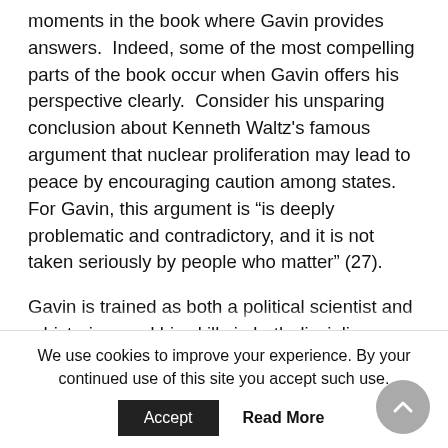moments in the book where Gavin provides answers.  Indeed, some of the most compelling parts of the book occur when Gavin offers his perspective clearly.  Consider his unsparing conclusion about Kenneth Waltz's famous argument that nuclear proliferation may lead to peace by encouraging caution among states.  For Gavin, this argument is “is deeply problematic and contradictory, and it is not taken seriously by people who matter” (27).
Gavin is trained as both a political scientist and a historian, and his skills in both disciplines shine through in the book.  Gavin is realistic about the
We use cookies to improve your experience. By your continued use of this site you accept such use.
Accept   Read More